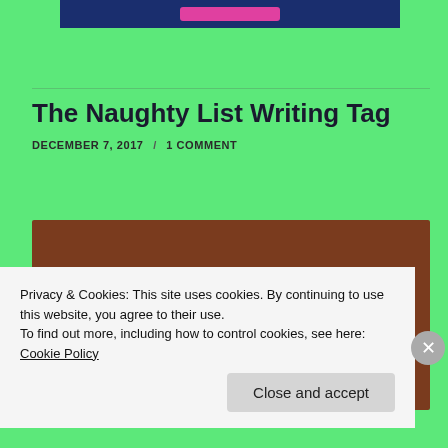[Figure (screenshot): A dark blue banner image at the top with a pink/magenta button element]
The Naughty List Writing Tag
DECEMBER 7, 2017 / 1 COMMENT
[Figure (photo): Photo of two Christmas holiday mugs on a wooden table with a mat — a red mug with whipped cream and a decorative mug with a candy cane, plus a pen nearby]
Privacy & Cookies: This site uses cookies. By continuing to use this website, you agree to their use.
To find out more, including how to control cookies, see here: Cookie Policy
Close and accept